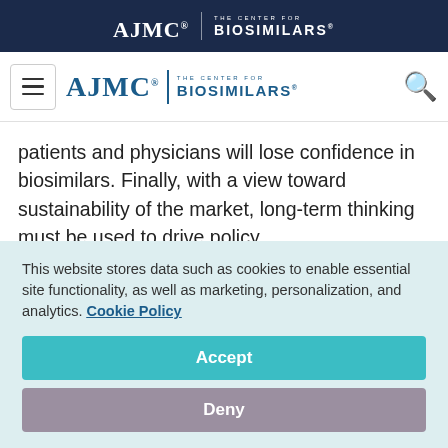AJMC | THE CENTER FOR BIOSIMILARS
[Figure (logo): AJMC The Center for Biosimilars navigation logo with hamburger menu and search icon]
patients and physicians will lose confidence in biosimilars. Finally, with a view toward sustainability of the market, long-term thinking must be used to drive policy.
While there may be no such thing as a perfect
This website stores data such as cookies to enable essential site functionality, as well as marketing, personalization, and analytics. Cookie Policy
Accept
Deny